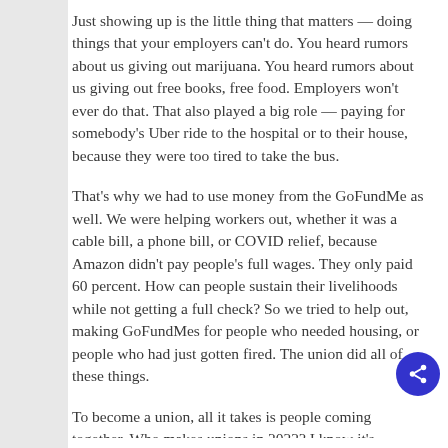Just showing up is the little thing that matters — doing things that your employers can't do. You heard rumors about us giving out marijuana. You heard rumors about us giving out free books, free food. Employers won't ever do that. That also played a big role — paying for somebody's Uber ride to the hospital or to their house, because they were too tired to take the bus.
That's why we had to use money from the GoFundMe as well. We were helping workers out, whether it was a cable bill, a phone bill, or COVID relief, because Amazon didn't pay people's full wages. They only paid 60 percent. How can people sustain their livelihoods while not getting a full check? So we tried to help out, making GoFundMes for people who needed housing, or people who had just gotten fired. The union did all of these things.
To become a union, all it takes is people coming together. Who makes unions in 2022? I know it's different, but anybody in America, anybody in the world, can do it.